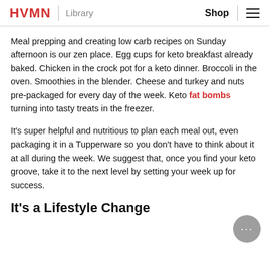HVMN | Library  Shop ≡
Meal prepping and creating low carb recipes on Sunday afternoon is our zen place. Egg cups for keto breakfast already baked. Chicken in the crock pot for a keto dinner. Broccoli in the oven. Smoothies in the blender. Cheese and turkey and nuts pre-packaged for every day of the week. Keto fat bombs turning into tasty treats in the freezer.
It's super helpful and nutritious to plan each meal out, even packaging it in a Tupperware so you don't have to think about it at all during the week. We suggest that, once you find your keto groove, take it to the next level by setting your week up for success.
It's a Lifestyle Change